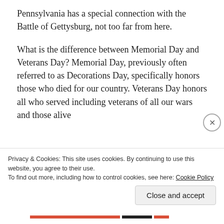Pennsylvania has a special connection with the Battle of Gettysburg, not too far from here.
What is the difference between Memorial Day and Veterans Day? Memorial Day, previously often referred to as Decorations Day, specifically honors those who died for our country. Veterans Day honors all who served including veterans of all our wars and those alive
Privacy & Cookies: This site uses cookies. By continuing to use this website, you agree to their use.
To find out more, including how to control cookies, see here: Cookie Policy
Close and accept